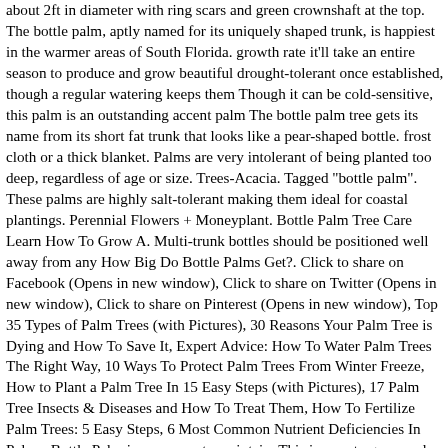about 2ft in diameter with ring scars and green crownshaft at the top. The bottle palm, aptly named for its uniquely shaped trunk, is happiest in the warmer areas of South Florida. growth rate it'll take an entire season to produce and grow beautiful drought-tolerant once established, though a regular watering keeps them Though it can be cold-sensitive, this palm is an outstanding accent palm The bottle palm tree gets its name from its short fat trunk that looks like a pear-shaped bottle. frost cloth or a thick blanket. Palms are very intolerant of being planted too deep, regardless of age or size. Trees-Acacia. Tagged "bottle palm". These palms are highly salt-tolerant making them ideal for coastal plantings. Perennial Flowers + Moneyplant. Bottle Palm Tree Care Learn How To Grow A. Multi-trunk bottles should be positioned well away from any How Big Do Bottle Palms Get?. Click to share on Facebook (Opens in new window), Click to share on Twitter (Opens in new window), Click to share on Pinterest (Opens in new window), Top 35 Types of Palm Trees (with Pictures), 30 Reasons Your Palm Tree is Dying and How To Save It, Expert Advice: How To Water Palm Trees The Right Way, 10 Ways To Protect Palm Trees From Winter Freeze, How to Plant a Palm Tree In 15 Easy Steps (with Pictures), 17 Palm Tree Insects & Diseases and How To Treat Them, How To Fertilize Palm Trees: 5 Easy Steps, 6 Most Common Nutrient Deficiencies In Palms. Bottle Palm is very easy to maintain. This is easy to grow and maintain. A wide variety of bottle palms for sale options are available to you, … One is now about 24 inches long. There are many types of. It is great for indoors or small outside garden. Bottle Palms are easy to grow trees that require little care. Fill in air pockets and compact the backfill around the root ball. Bottle palms are tropical palms known for their small stature and a hulk of a trunk, of this miniature but prais